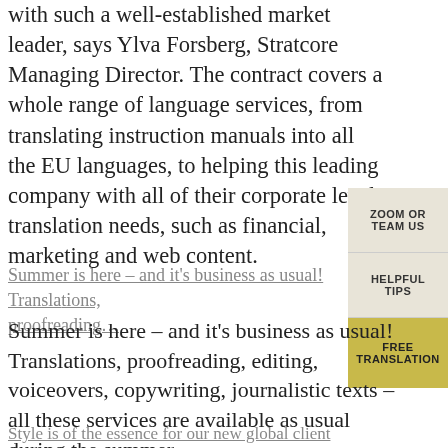with such a well-established market leader, says Ylva Forsberg, Stratcore Managing Director. The contract covers a whole range of language services, from translating instruction manuals into all the EU languages, to helping this leading company with all of their corporate level translation needs, such as financial, marketing and web content.
ZOOM OR TEAM US
HELPFUL TIPS
FREE TRANSLATION
Summer is here – and it's business as usual! Translations, proofreading…
Summer is here – and it's business as usual! Translations, proofreading, editing, voiceovers, copywriting, journalistic texts – all these services are available as usual during the summer.
Style is of the essence for our new global client